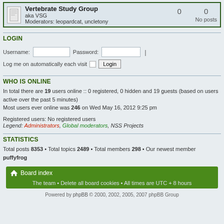Vertebrate Study Group aka VSG Moderators: leopardcat, uncletony — 0 posts, 0 posts, No posts
LOGIN
Username: [input] Password: [input] | Log me on automatically each visit [checkbox] Login
WHO IS ONLINE
In total there are 19 users online :: 0 registered, 0 hidden and 19 guests (based on users active over the past 5 minutes)
Most users ever online was 246 on Wed May 16, 2012 9:25 pm
Registered users: No registered users
Legend: Administrators, Global moderators, NSS Projects
STATISTICS
Total posts 8353 • Total topics 2489 • Total members 298 • Our newest member puffyfrog
Board index
The team • Delete all board cookies • All times are UTC + 8 hours
Powered by phpBB © 2000, 2002, 2005, 2007 phpBB Group